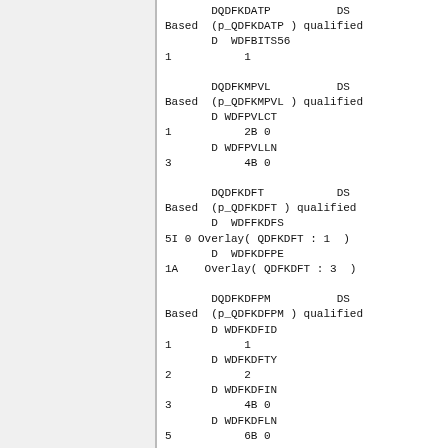DQDFKDATP          DS
Based  (p_QDFKDATP ) qualified
       D  WDFBITS56
1           1

       DQDFKMPVL          DS
Based  (p_QDFKMPVL ) qualified
       D WDFPVLCT
1           2B 0
       D WDFPVLLN
3           4B 0

       DQDFKDFT           DS
Based  (p_QDFKDFT ) qualified
       D  WDFFKDFS
5I 0 Overlay( QDFKDFT : 1  )
       D  WDFKDFPE
1A    Overlay( QDFKDFT : 3  )

       DQDFKDFPM          DS
Based  (p_QDFKDFPM ) qualified
       D WDFKDFID
1           1
       D WDFKDFTY
2           2
       D WDFKDFIN
3           4B 0
       D WDFKDFLN
5           6B 0

       DQDFKDFMM          DS
Based  (p_QDFKDFMM ) qualified